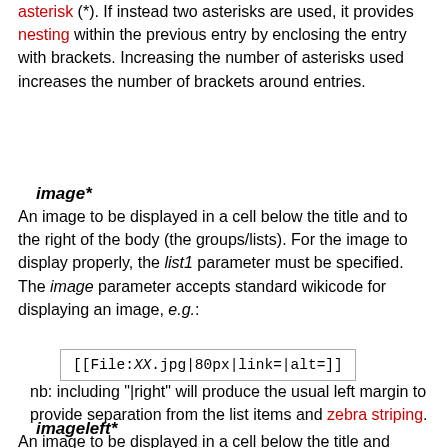asterisk (*). If instead two asterisks are used, it provides nesting within the previous entry by enclosing the entry with brackets. Increasing the number of asterisks used increases the number of brackets around entries.
image*
An image to be displayed in a cell below the title and to the right of the body (the groups/lists). For the image to display properly, the list1 parameter must be specified. The image parameter accepts standard wikicode for displaying an image, e.g.:
[[File:XX.jpg|80px|link=|alt=]]
nb: including "|right" will produce the usual left margin to provide separation from the list items and zebra striping.
imageleft*
An image to be displayed in a cell below the title and